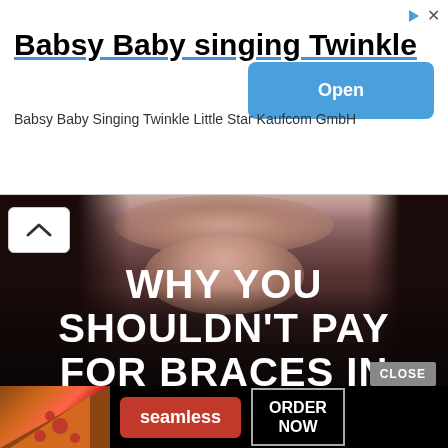[Figure (screenshot): App advertisement banner for 'Babsy Baby singing Twinkle' app by Kaufcom GmbH with Open button]
Babsy Baby singing Twinkle
Babsy Baby Singing Twinkle Little Star Kaufcom GmbH
[Figure (photo): Dark photo of a woman with long hair, face partially visible, with overlay text: WHY YOU SHOULDN'T PAY FOR BRACES IN FULL TO SAVE]
[Figure (screenshot): Seamless food delivery advertisement with pizza image, Seamless logo, ORDER NOW button, and CLOSE button]